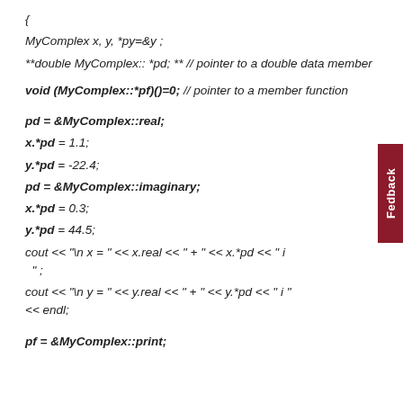{ MyComplex x, y, *py=&y ; **double MyComplex:: *pd; ** // pointer to a double data member void (MyComplex::*pf)()=0; // pointer to a member function pd = &MyComplex::real; x.*pd = 1.1; y.*pd = -22.4; pd = &MyComplex::imaginary; x.*pd = 0.3; y.*pd = 44.5; cout << "\n x = " << x.real << " + " << x.*pd << " i " ; cout << "\n y = " << y.real << " + " << y.*pd << " i " << endl; pf = &MyComplex::print;